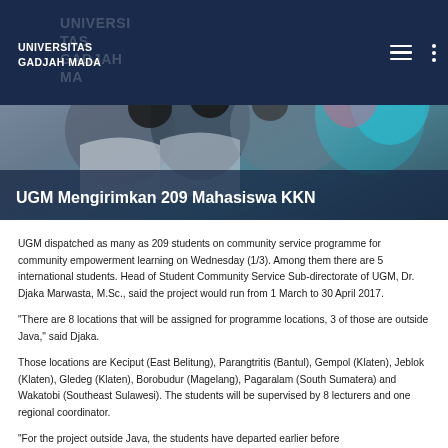UNIVERSITAS GADJAH MADA
[Figure (photo): Group of students or people in a community service setting, wearing jackets, photographed from above at close range]
UGM Mengirimkan 209 Mahasiswa KKN
UGM dispatched as many as 209 students on community service programme for community empowerment learning on Wednesday (1/3). Among them there are 5 international students. Head of Student Community Service Sub-directorate of UGM, Dr. Djaka Marwasta, M.Sc., said the project would run from 1 March to 30 April 2017.
"There are 8 locations that will be assigned for programme locations, 3 of those are outside Java," said Djaka.
Those locations are Keciput (East Belitung), Parangtritis (Bantul), Gempol (Klaten), Jeblok (Klaten), Gledeg (Klaten), Borobudur (Magelang), Pagaralam (South Sumatera) and Wakatobi (Southeast Sulawesi). The students will be supervised by 8 lecturers and one regional coordinator.
"For the project outside Java, the students have departed earlier before